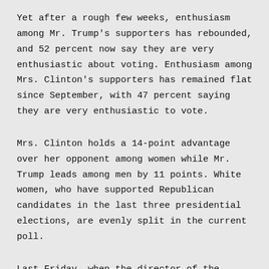Yet after a rough few weeks, enthusiasm among Mr. Trump's supporters has rebounded, and 52 percent now say they are very enthusiastic about voting. Enthusiasm among Mrs. Clinton's supporters has remained flat since September, with 47 percent saying they are very enthusiastic to vote.
Mrs. Clinton holds a 14-point advantage over her opponent among women while Mr. Trump leads among men by 11 points. White women, who have supported Republican candidates in the last three presidential elections, are evenly split in the current poll.
Last Friday, when the director of the F.B.I., James B. Comey, sent a letter to Congress about a new inquiry into